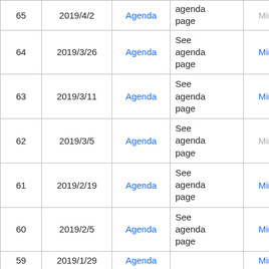| # | Date | Agenda | Description | Minute | File |
| --- | --- | --- | --- | --- | --- |
| 65 | 2019/4/2 | Agenda | See agenda page | Minute |  |
| 64 | 2019/3/26 | Agenda | See agenda page | Minute | file |
| 63 | 2019/3/11 | Agenda | See agenda page | Minute |  |
| 62 | 2019/3/5 | Agenda | See agenda page | Minute |  |
| 61 | 2019/2/19 | Agenda | See agenda page | Minute |  |
| 60 | 2019/2/5 | Agenda | See agenda page | Minute |  |
| 59 | 2019/1/29 | Agenda |  | Minute |  |
| 58 | 2019/1/22 | Agenda |  | Minute |  |
| 57 | 2019/1/8 | Agenda |  | Minute |  |
| 56 | 2018/12/25 | Agenda |  | Minute |  |